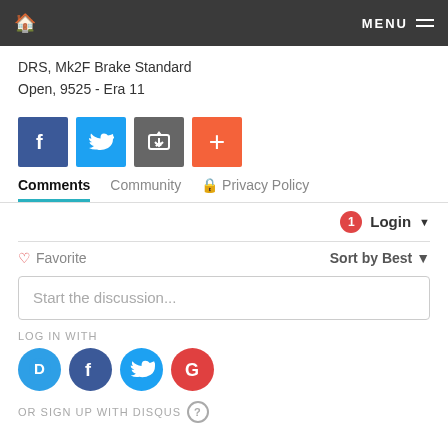🏠  MENU ≡
DRS, Mk2F Brake Standard
Open, 9525 - Era 11
[Figure (infographic): Social share buttons: Facebook (blue), Twitter (light blue), Share/transfer (grey), Plus/add (orange)]
Comments   Community   🔒 Privacy Policy
🔔1  Login ▾
♡ Favorite   Sort by Best ▾
Start the discussion...
LOG IN WITH
[Figure (infographic): Social login icons: Disqus (blue circle with D), Facebook (dark blue circle with f), Twitter (light blue circle with bird), Google (red circle with G)]
OR SIGN UP WITH DISQUS ?